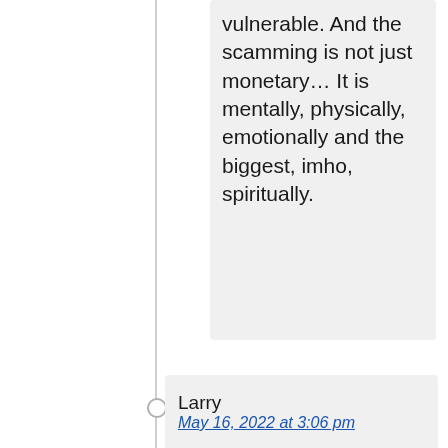vulnerable. And the scamming is not just monetary… It is mentally, physically, emotionally and the biggest, imho, spiritually.
Larry
May 16, 2022 at 3:06 pm
The whole housing market problem is caused by greedy realtors and crooked banking. Ive been a contractor for 45 years im glad im retired what i see out there makes me want to become violently sick .Mostly rookies that havent had a good ethical teaching claiming to be carpenters. The whole things a disgust